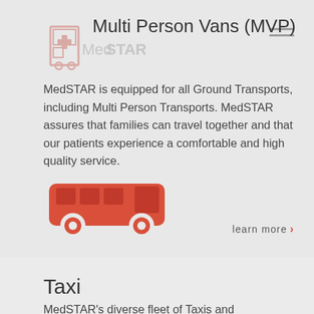Multi Person Vans (MVP)
[Figure (logo): MedSTAR logo with ambulance icon, partially transparent]
MedSTAR is equipped for all Ground Transports, including Multi Person Transports. MedSTAR assures that families can travel together and that our patients experience a comfortable and high quality service.
[Figure (illustration): Red van / multi-person vehicle icon]
learn more ›
Taxi
MedSTAR's diverse fleet of Taxis and